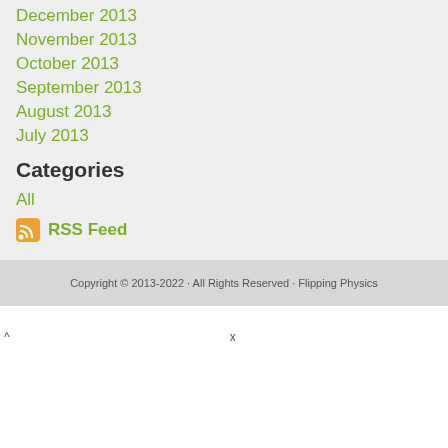December 2013
November 2013
October 2013
September 2013
August 2013
July 2013
Categories
All
RSS Feed
Copyright © 2013-2022 · All Rights Reserved · Flipping Physics